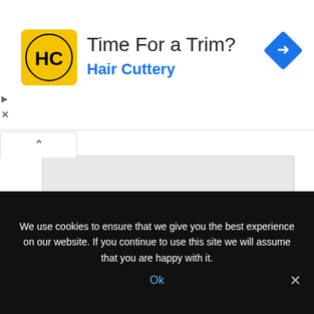[Figure (advertisement): Hair Cuttery ad banner with yellow logo showing HC, title 'Time For a Trim?' and subtitle 'Hair Cuttery' in blue, with a blue navigation diamond icon on the right.]
Website
[Figure (screenshot): Form fields: one input box at top (partially visible), a Website input box, and a green Post Comment button.]
We use cookies to ensure that we give you the best experience on our website. If you continue to use this site we will assume that you are happy with it.
Ok